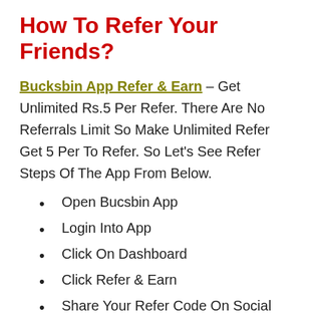How To Refer Your Friends?
Bucksbin App Refer & Earn – Get Unlimited Rs.5 Per Refer. There Are No Referrals Limit So Make Unlimited Refer Get 5 Per To Refer. So Let's See Refer Steps Of The App From Below.
Open Bucsbin App
Login Into App
Click On Dashboard
Click Refer & Earn
Share Your Refer Code On Social Platform
Get ₹5 You & Your When Join